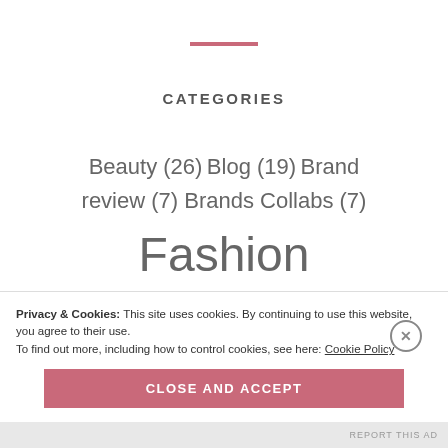CATEGORIES
Beauty (26) Blog (19) Brand review (7) Brands Collabs (7) Fashion and Style (65) Festivals (10) Fitness (17) Food (21) Fun (24)
Privacy & Cookies: This site uses cookies. By continuing to use this website, you agree to their use. To find out more, including how to control cookies, see here: Cookie Policy
CLOSE AND ACCEPT